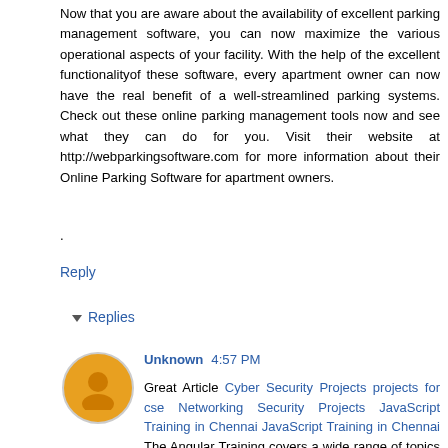Now that you are aware about the availability of excellent parking management software, you can now maximize the various operational aspects of your facility. With the help of the excellent functionalityof these software, every apartment owner can now have the real benefit of a well-streamlined parking systems. Check out these online parking management tools now and see what they can do for you. Visit their website at http://webparkingsoftware.com for more information about their Online Parking Software for apartment owners.
.
Reply
▾ Replies
Unknown 4:57 PM
Great Article Cyber Security Projects projects for cse Networking Security Projects JavaScript Training in Chennai JavaScript Training in Chennai The Angular Training covers a wide range of topics including Components, Angular...